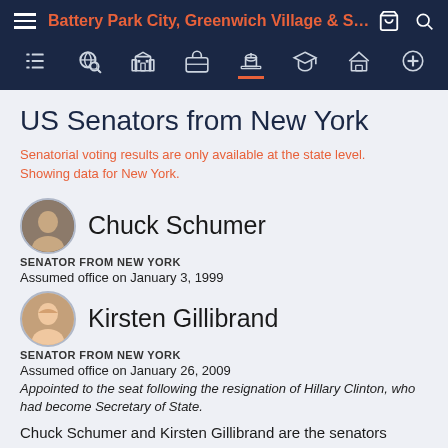Battery Park City, Greenwich Village & Soh...
US Senators from New York
Senatorial voting results are only available at the state level. Showing data for New York.
Chuck Schumer
SENATOR FROM NEW YORK
Assumed office on January 3, 1999
Kirsten Gillibrand
SENATOR FROM NEW YORK
Assumed office on January 26, 2009
Appointed to the seat following the resignation of Hillary Clinton, who had become Secretary of State.
Chuck Schumer and Kirsten Gillibrand are the senators currently representing New York.
In the United States, senators are elected to 6-year terms